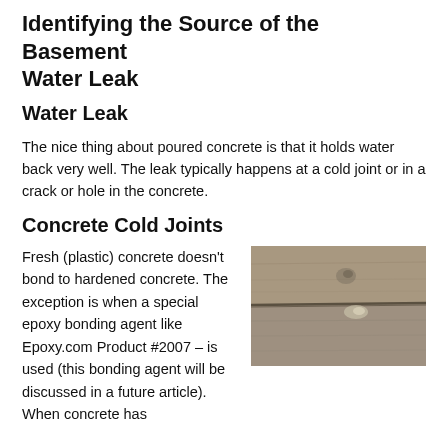Identifying the Source of the Basement Water Leak
The nice thing about poured concrete is that it holds water back very well. The leak typically happens at a cold joint or in a crack or hole in the concrete.
Concrete Cold Joints
Fresh (plastic) concrete doesn’t bond to hardened concrete. The exception is when a special epoxy bonding agent like Epoxy.com Product #2007 – is used (this bonding agent will be discussed in a future article). When concrete has
[Figure (photo): Close-up photograph of a concrete cold joint showing horizontal crack/seam between two poured concrete layers with slight moisture or mineral deposit visible]